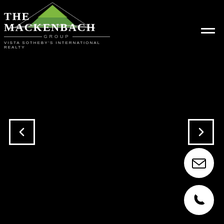[Figure (logo): The Mackenbach Group logo with mountain graphic, company name, group tagline and Vista Sotheby's International Realty subtitle on black background]
[Figure (other): Hamburger menu icon (three horizontal white lines) in top right corner]
[Figure (other): Left navigation arrow button (white outlined square with left chevron)]
[Figure (other): Right navigation arrow button (white outlined square with right chevron)]
[Figure (other): Email contact button (white circle with envelope icon)]
[Figure (other): Phone contact button (white circle with telephone receiver icon)]